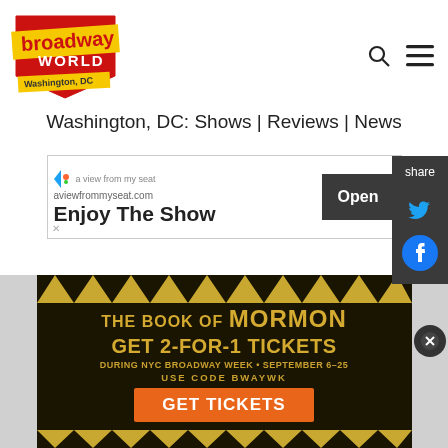[Figure (logo): BroadwayWorld Washington DC logo - red shield/badge shape with yellow 'broadway' text and 'WORLD' below, 'Washington, DC' banner at bottom]
Washington, DC: Shows | Reviews | News
[Figure (illustration): Share sidebar on right edge: dark gray background, 'share' label, Twitter bird icon, Facebook circle icon]
[Figure (screenshot): Advertisement banner: aviewfrommyseat.com - Enjoy The Show - Open button]
[Figure (screenshot): Advertisement banner: The Book of Mormon - GET 2-FOR-1 TICKETS - DURING NYC BROADWAY WEEK • SEPTEMBER 6-25 - USE CODE BWAYWK - GET TICKETS]